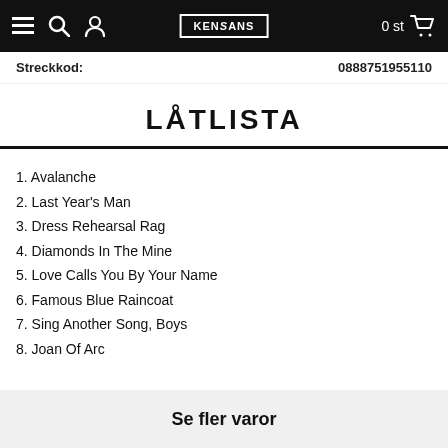Kensans navigation bar with menu, search, user, logo, and cart (0 st)
Streckkod: 0888751955110
LÅTLISTA
1. Avalanche
2. Last Year's Man
3. Dress Rehearsal Rag
4. Diamonds In The Mine
5. Love Calls You By Your Name
6. Famous Blue Raincoat
7. Sing Another Song, Boys
8. Joan Of Arc
Se fler varor